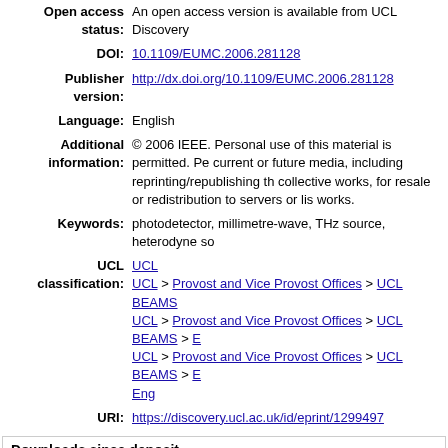| Field | Value |
| --- | --- |
| Open access status: | An open access version is available from UCL Discovery |
| DOI: | 10.1109/EUMC.2006.281128 |
| Publisher version: | http://dx.doi.org/10.1109/EUMC.2006.281128 |
| Language: | English |
| Additional information: | © 2006 IEEE. Personal use of this material is permitted. Pe current or future media, including reprinting/republishing th collective works, for resale or redistribution to servers or li works. |
| Keywords: | photodetector, millimetre-wave, THz source, heterodyne so |
| UCL classification: | UCL
UCL > Provost and Vice Provost Offices > UCL BEAMS
UCL > Provost and Vice Provost Offices > UCL BEAMS >
UCL > Provost and Vice Provost Offices > UCL BEAMS >
Eng |
| URI: | https://discovery.ucl.ac.uk/id/eprint/1299497 |
Downloads since deposit
[Figure (area-chart): Area chart showing download history with a light blue filled area and a peak shape, showing 0 downloads total]
0 Downloads
Download activity - last month